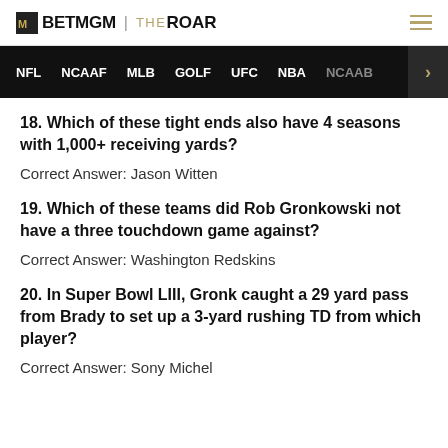BETMGM | THEROAR
NFL  NCAAF  MLB  GOLF  UFC  NBA  NCAAB
18. Which of these tight ends also have 4 seasons with 1,000+ receiving yards?
Correct Answer: Jason Witten
19. Which of these teams did Rob Gronkowski not have a three touchdown game against?
Correct Answer: Washington Redskins
20. In Super Bowl LIII, Gronk caught a 29 yard pass from Brady to set up a 3-yard rushing TD from which player?
Correct Answer: Sony Michel